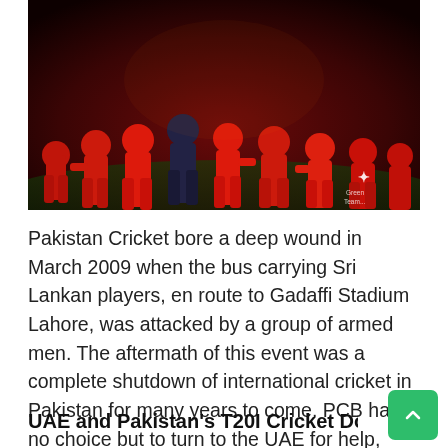[Figure (photo): Cricket players dressed in red uniforms walking together on a field, group celebration scene at night or dusk.]
Pakistan Cricket bore a deep wound in March 2009 when the bus carrying Sri Lankan players, en route to Gadaffi Stadium Lahore, was attacked by a group of armed men. The aftermath of this event was a complete shutdown of international cricket in Pakistan for many years to come. PCB had no choice but to turn to the UAE for help, which welcomed PCB's decision of hosting home matches there with both arms wide open.
UAE and Pakistan's T20I Cricket Dominance